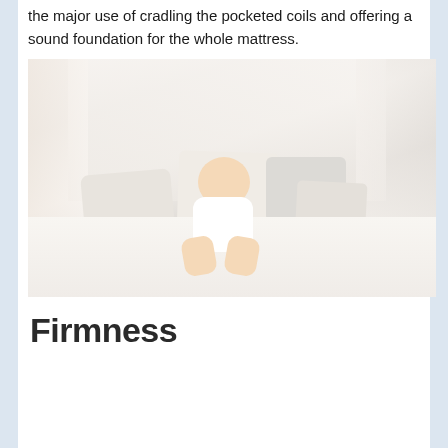the major use of cradling the pocketed coils and offering a sound foundation for the whole mattress.
[Figure (photo): A smiling baby in a white onesie sitting on a white bed surrounded by beige and white pillows with soft curtains in the background.]
Firmness